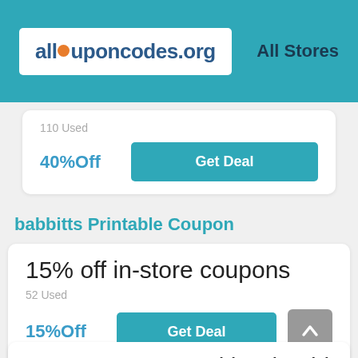[Figure (logo): allcouponcodes.org logo with orange dot replacing the 'o' in 'couponcodes']
All Stores
110 Used
40%Off
Get Deal
babbitts Printable Coupon
15% off in-store coupons
52 Used
15%Off
Get Deal
Save up to 60% with printable